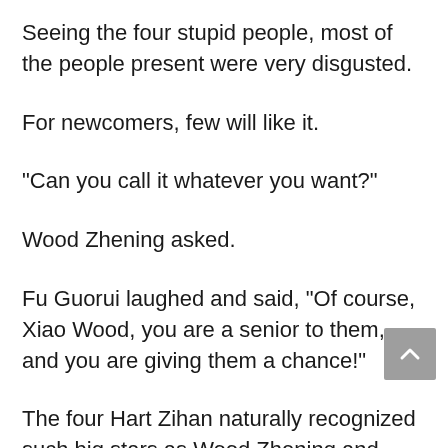Seeing the four stupid people, most of the people present were very disgusted.
For newcomers, few will like it.
“Can you call it whatever you want?”
Wood Zhening asked.
Fu Guorui laughed and said, “Of course, Xiao Wood, you are a senior to them, and you are giving them a chance!”
The four Hart Zihan naturally recognized such big stars as Wood Zhening and Wang Yixiao.
They look forward to being called...